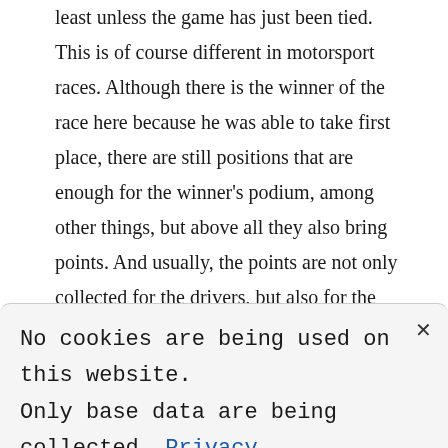least unless the game has just been tied. This is of course different in motorsport races. Although there is the winner of the race here because he was able to take first place, there are still positions that are enough for the winner's podium, among other things, but above all they also bring points. And usually, the points are not only collected for the drivers, but also for the teams. Points are very important in a race and in the end, you can theoretically become a world champion even if you didn't even finish first. The bets on the top positions are based on whether a driver will make it into the
No cookies are being used on this website. Only base data are being collected. Privacy